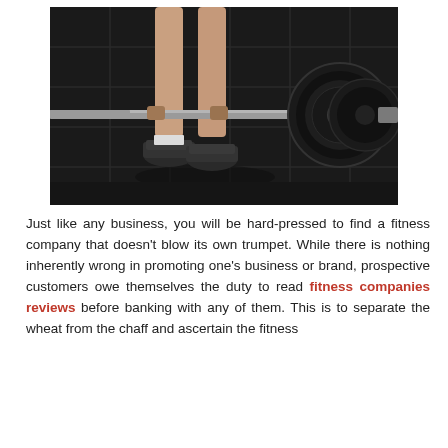[Figure (photo): Person standing at a barbell with large black weight plates on a dark rubber gym floor, photographed from knees down showing athletic shoes]
Just like any business, you will be hard-pressed to find a fitness company that doesn't blow its own trumpet. While there is nothing inherently wrong in promoting one's business or brand, prospective customers owe themselves the duty to read fitness companies reviews before banking with any of them. This is to separate the wheat from the chaff and ascertain the fitness